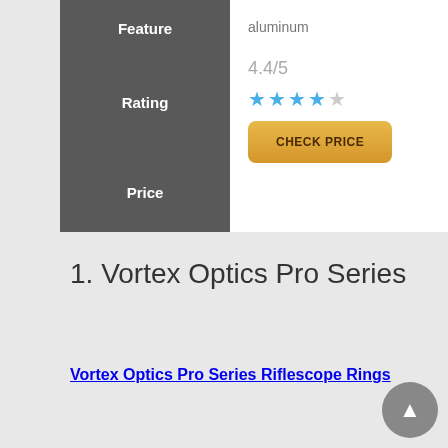| Feature |  |
| --- | --- |
| Rating | 4.4/5 |
| Price | CHECK PRICE |
aluminum
1. Vortex Optics Pro Series
Vortex Optics Pro Series Riflescope Rings